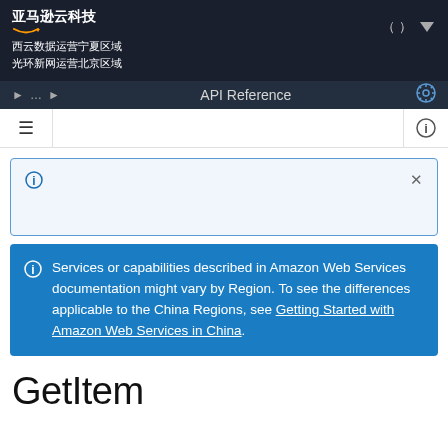亚马逊云科技 西云数据运营宁夏区域 光环新网运营北京区域
API Reference
Services or capabilities described in Amazon Web Services documentation might vary by Region. To see the differences applicable to the China Regions, see Getting Started with Amazon Web Services in China.
GetItem